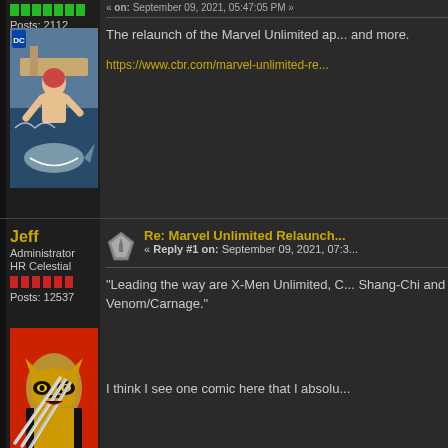Posts: 2112
[Figure (illustration): Comic book cover showing a muscular figure fighting on a boat with a shark, DC label visible]
The relaunch of the Marvel Unlimited app and more.
https://www.cbr.com/marvel-unlimited-re...
Jeff
Administrator
HR Celestial
Posts: 12537
Re: Marvel Unlimited Relaunch
Reply #1 on: September 09, 2021, 07:3...
[Figure (illustration): Wolverine comic illustration showing claws and yellow costume against red background]
"Leading the way are X-Men Unlimited, Shang-Chi and Venom/Carnage."
I think I see one comic here that I absolu...